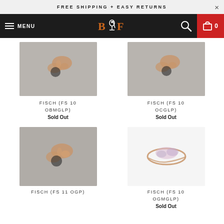FREE SHIPPING + EASY RETURNS
[Figure (screenshot): Navigation bar with hamburger menu, MENU label, BF logo, search icon, and cart with 0 items]
[Figure (photo): Product image placeholder for FISCH (FS 10 OBMGLP) - grey background with small jewellery piece]
FISCH (FS 10 OBMGLP)
Sold Out
[Figure (photo): Product image placeholder for FISCH (FS 10 OCGLP) - grey background with small jewellery piece]
FISCH (FS 10 OCGLP)
Sold Out
[Figure (photo): Product image placeholder for FISCH (FS 11 OGP) - grey background with small jewellery piece]
FISCH (FS 11 OGP)
[Figure (photo): Product image for FISCH (FS 10 OGMGLP) - white background with ring/jewellery piece]
FISCH (FS 10 OGMGLP)
Sold Out